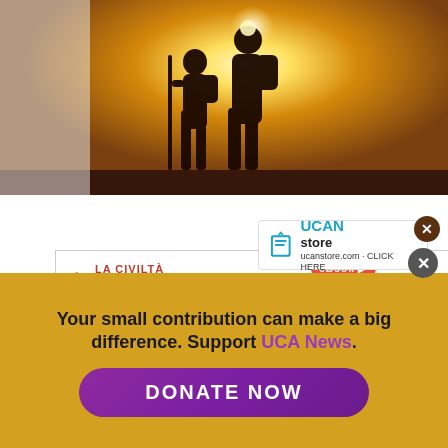[Figure (photo): Silhouette of two pilgrim figures against a bright golden sunset sky]
[Figure (screenshot): UCAN Store badge/logo with book icon and text 'UCAN store']
[Figure (screenshot): La Civiltà Cattolica special eBook advertisement card featuring 'THE PONTIFICATE' title with St. Peter's Basilica dome image, and a vertical 'SPECIAL EBOOK' sidebar tab]
aith
self-
today will
Your small contribution can make a big difference. Support UCA News.
DONATE NOW